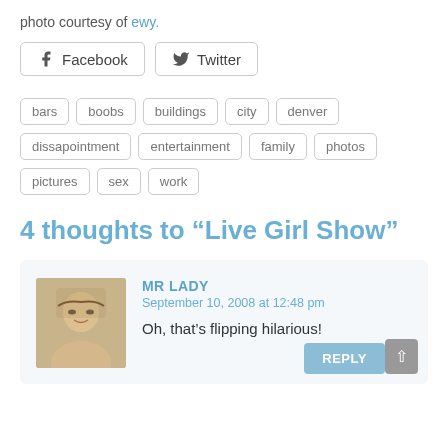photo courtesy of ewy.
[Figure (other): Facebook and Twitter share buttons]
bars
boobs
buildings
city
denver
dissapointment
entertainment
family
photos
pictures
sex
work
4 thoughts to “Live Girl Show”
MR LADY
September 10, 2008 at 12:48 pm
Oh, that’s flipping hilarious!